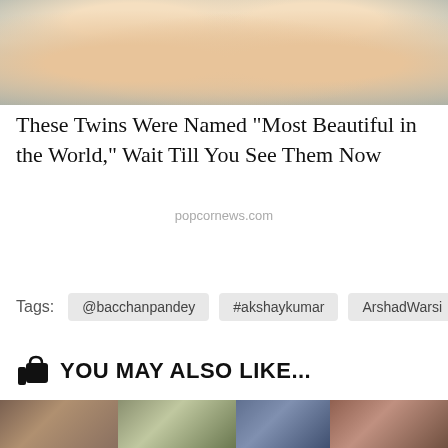[Figure (photo): Close-up photo of two young girls (twins) faces at the top of the page]
These Twins Were Named "Most Beautiful in the World," Wait Till You See Them Now
popcornews.com
Tags:  @bacchanpandey  #akshaykumar  ArshadWarsi
YOU MAY ALSO LIKE...
[Figure (photo): Three thumbnail photos at the bottom showing various people]